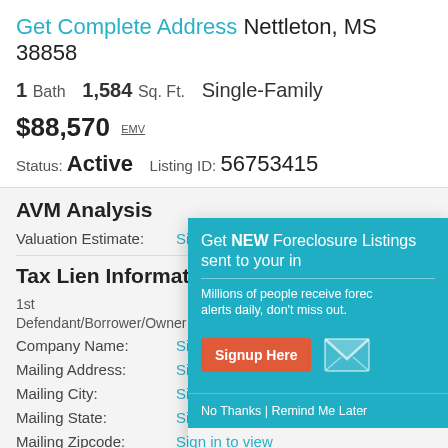Get Complete Address Nettleton, MS 38858
1 Bath  1,584 Sq. Ft.  Single-Family
$88,570 EMV
Status: Active  Listing ID: 56753415
AVM Analysis
Valuation Estimate:  Sign in
Tax Lien Information
1st
Defendant/Borrower/Owner
Company Name:  Sign in
Mailing Address:  Sign in
Mailing City:  Sign in
Mailing State:  Sign in to view
Mailing Zipcode:  Sign in to view
[Figure (other): Popup overlay: Get NEW Foreclosure Listings sent to your inbox. Millions of people receive foreclosure alerts daily, don't miss out. Signup Here button. No Thanks | Remind Me Later.]